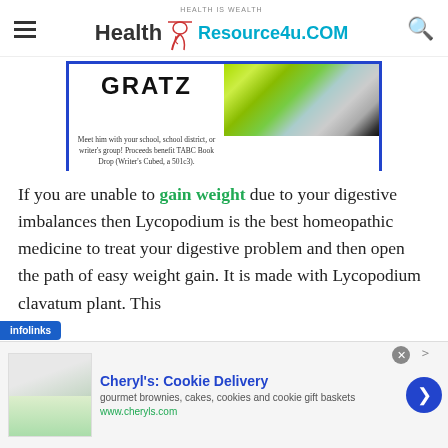Health Resource4u.COM — Health is Wealth
[Figure (photo): Banner advertisement showing 'GRATZ' text with a bearded man photo on the right, blue border, text: 'Meet him with your school, school district, or writer's group! Proceeds benefit TABC Book Drop (Writer's Cubed, a 501c3).']
If you are unable to gain weight due to your digestive imbalances then Lycopodium is the best homeopathic medicine to treat your digestive problem and then open the path of easy weight gain. It is made with Lycopodium clavatum plant. This
[Figure (screenshot): Bottom advertisement for Cheryl's: Cookie Delivery — gourmet brownies, cakes, cookies and cookie gift baskets. www.cheryls.com]